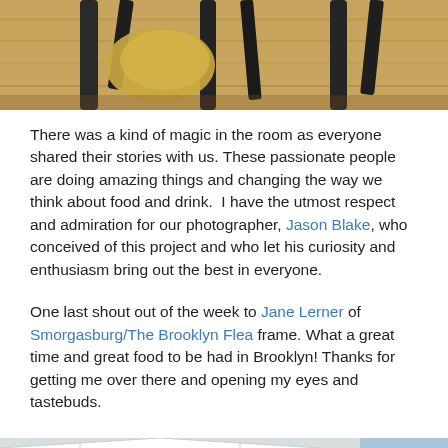[Figure (photo): Close-up photo of chair/tripod legs on a wooden floor, partial view from above]
There was a kind of magic in the room as everyone shared their stories with us. These passionate people are doing amazing things and changing the way we think about food and drink.  I have the utmost respect and admiration for our photographer, Jason Blake, who conceived of this project and who let his curiosity and enthusiasm bring out the best in everyone.
One last shout out of the week to Jane Lerner of Smorgasburg/The Brooklyn Flea frame. What a great time and great food to be had in Brooklyn! Thanks for getting me over there and opening my eyes and tastebuds.
[Figure (photo): Outdoor market scene, partial view showing white tent and city/water background]